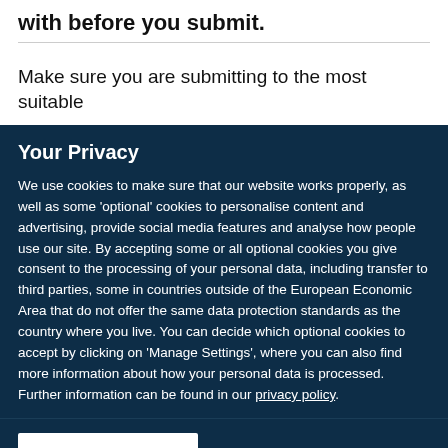with before you submit.
Make sure you are submitting to the most suitable
Your Privacy
We use cookies to make sure that our website works properly, as well as some 'optional' cookies to personalise content and advertising, provide social media features and analyse how people use our site. By accepting some or all optional cookies you give consent to the processing of your personal data, including transfer to third parties, some in countries outside of the European Economic Area that do not offer the same data protection standards as the country where you live. You can decide which optional cookies to accept by clicking on 'Manage Settings', where you can also find more information about how your personal data is processed. Further information can be found in our privacy policy.
Accept all cookies
Manage preferences